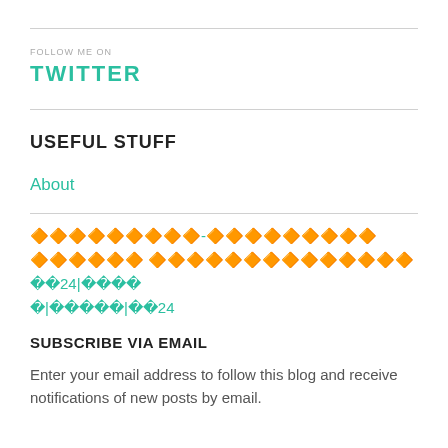TWITTER
USEFUL STUFF
About
🔷🔷🔷🔷🔷🔷🔷🔷🔷-🔷🔷🔷🔷🔷🔷🔷🔷🔷 🔷🔷🔷🔷🔷🔷 🔷🔷🔷🔷🔷🔷🔷🔷🔷🔷🔷🔷🔷🔷 ??24|???? ?|?????|??24
SUBSCRIBE VIA EMAIL
Enter your email address to follow this blog and receive notifications of new posts by email.